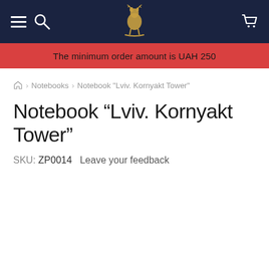Navigation header with hamburger menu, search icon, logo, and cart icon
The minimum order amount is UAH 250
Home > Notebooks > Notebook "Lviv. Kornyakt Tower"
Notebook “Lviv. Kornyakt Tower”
SKU: ZP0014   Leave your feedback